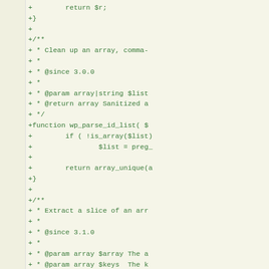[Figure (screenshot): A code diff view showing PHP code additions (green lines starting with +) on a yellowish background. The code shows two PHP functions: wp_parse_id_list and wp_array_slice_assoc, along with their PHPDoc comment blocks.]